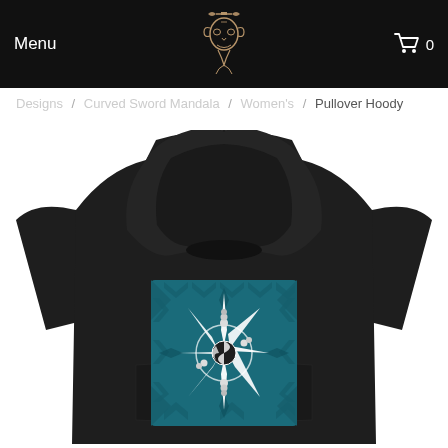Menu  [logo]  [cart] 0
Designs / Curved Sword Mandala / Women's / Pullover Hoody
[Figure (photo): Back view of a black women's pullover hoodie featuring a Curved Sword Mandala design — a white star-burst / sword mandala on a teal geometric mandala background — printed on the back of the garment.]